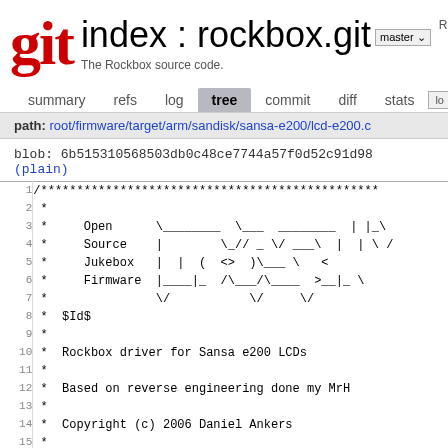git   index : rockbox.git   master   The Rockbox source code.   Rock
summary   refs   log   tree   commit   diff   stats   lo
path: root/firmware/target/arm/sandisk/sansa-e200/lcd-e200.c
blob: 6b515310568503db0c48ce7744a57f0d52c91d98 (plain)
| line | code |
| --- | --- |
| 1 | /*********************************************** |
| 2 |  * |
| 3 |  *     Open      \________  \___  ________  | |_\ |
| 4 |  *     Source    |        \_// _ \/ ___\  |  | \ / |
| 5 |  *     Jukebox   |  |  (  <_>  )\___ \   < |
| 6 |  *     Firmware  |____|_  /\___/\____  >__|_ \ |
| 7 |  *               \/           \/     \/ |
| 8 |  *  $Id$ |
| 9 |  * |
| 10 |  *  Rockbox driver for Sansa e200 LCDs |
| 11 |  * |
| 12 |  *  Based on reverse engineering done my MrH |
| 13 |  * |
| 14 |  *  Copyright (c) 2006 Daniel Ankers |
| 15 |  * |
| 16 |  *  All files in this archive are subject to th |